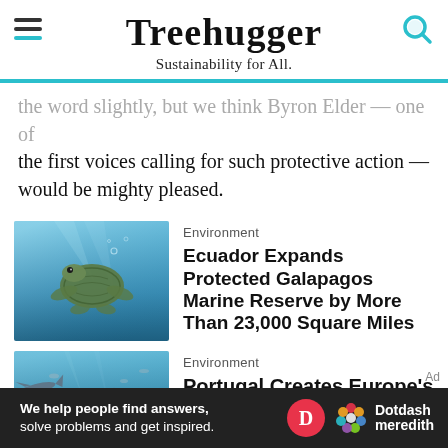Treehugger – Sustainability for All.
the first voices calling for such protective action — would be mighty pleased.
[Figure (photo): Sea turtle swimming underwater in blue ocean]
Environment
Ecuador Expands Protected Galapagos Marine Reserve by More Than 23,000 Square Miles
[Figure (photo): Sharks swimming over a coral reef in blue water]
Environment
Portugal Creates Europe's Largest Marine Reserve
We help people find answers, solve problems and get inspired. Dotdash meredith